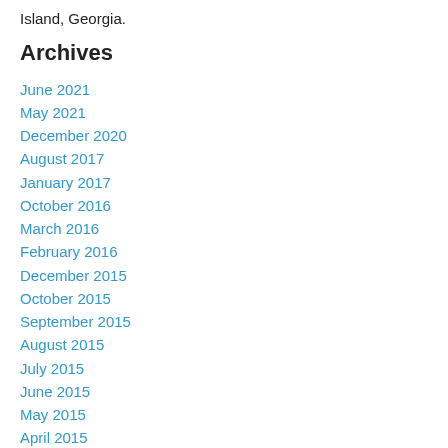Island, Georgia.
Archives
June 2021
May 2021
December 2020
August 2017
January 2017
October 2016
March 2016
February 2016
December 2015
October 2015
September 2015
August 2015
July 2015
June 2015
May 2015
April 2015
March 2015
February 2015